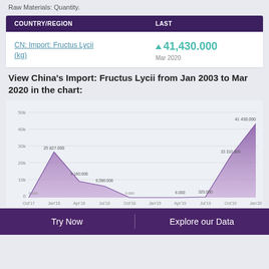Raw Materials: Quantity.
| COUNTRY/REGION | LAST |
| --- | --- |
| CN: Import: Fructus Lycii (kg) | ▲ 41,430.000
Mar 2020 |
View China's Import: Fructus Lycii from Jan 2003 to Mar 2020 in the chart:
[Figure (area-chart): CN: Import: Fructus Lycii (kg)]
Try Now   Explore our Data